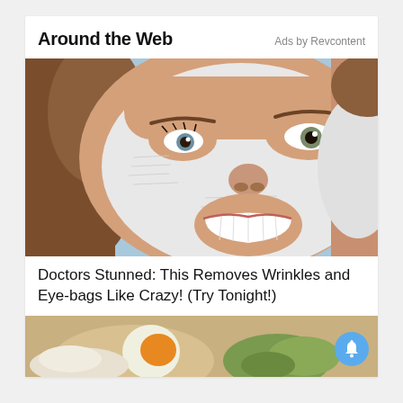Around the Web
Ads by Revcontent
[Figure (photo): Close-up of a woman wearing a white face mask, smiling, with brown hair, against a light blue background.]
Doctors Stunned: This Removes Wrinkles and Eye-bags Like Crazy! (Try Tonight!)
[Figure (photo): Partial image of food items including an egg yolk and green vegetables on a surface.]